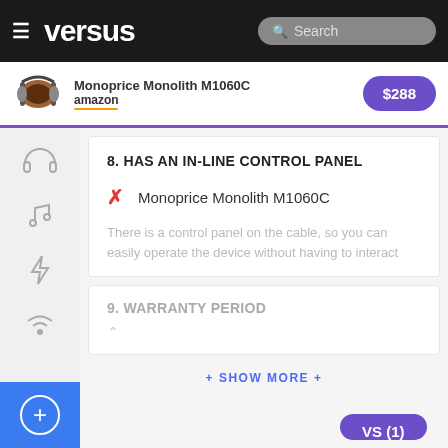versus — Search
[Figure (screenshot): Monoprice Monolith M1060C product listing with Amazon logo and $288 price button]
8. HAS AN IN-LINE CONTROL PANEL
✗ Monoprice Monolith M1060C
There is a control panel on the cable, so you can easily operate the device without having to interact
9. WARRANTY PERIOD
+ SHOW MORE +
VS (1)